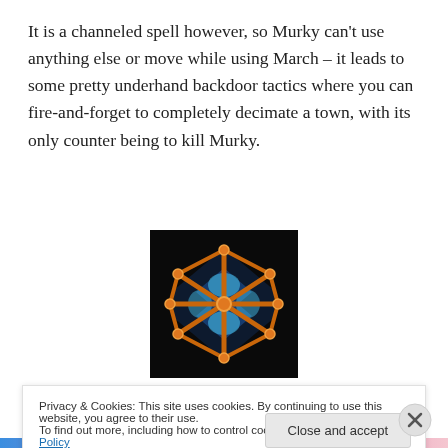It is a channeled spell however, so Murky can't use anything else or move while using March – it leads to some pretty underhand backdoor tactics where you can fire-and-forget to completely decimate a town, with its only counter being to kill Murky.
[Figure (illustration): Game ability icon showing a glowing blue net or grid pattern with orange borders on a dark background, representing 'Octo-Grab' ability]
[R2] Octo-Grab: Summon an octopus to stun target
Privacy & Cookies: This site uses cookies. By continuing to use this website, you agree to their use.
To find out more, including how to control cookies, see here: Cookie Policy